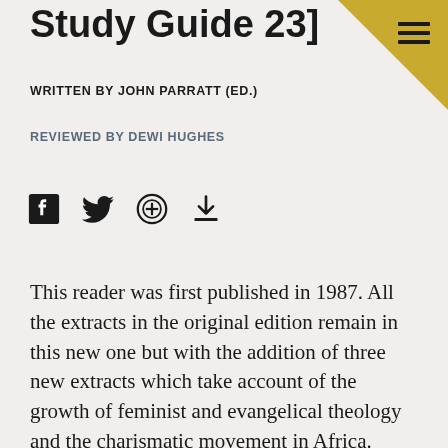Study Guide 23]
WRITTEN BY JOHN PARRATT (ED.)
REVIEWED BY DEWI HUGHES
[Figure (infographic): Social sharing icons: Facebook, Twitter, comment/add, download]
This reader was first published in 1987. All the extracts in the original edition remain in this new one but with the addition of three new extracts which take account of the growth of feminist and evangelical theology and the charismatic movement in Africa. Following a brief introduction by the editor to the context of African theologizing the extracts from the work of African theologians is divided into three parts.